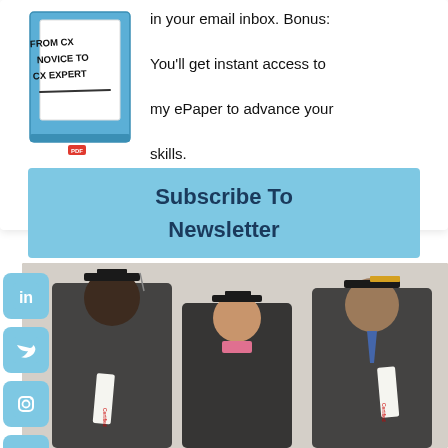[Figure (illustration): Book titled 'From CX Novice to CX Expert' with a blue cover and a PDF icon below it]
in your email inbox. Bonus: You'll get instant access to my ePaper to advance your skills.
Subscribe To Newsletter
[Figure (photo): Three graduates in black caps and gowns holding 'Certified' certificates, smiling]
[Figure (infographic): Social media icons: LinkedIn, Twitter, Instagram, YouTube arranged vertically on the left side]